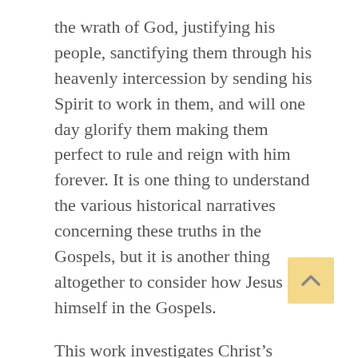the wrath of God, justifying his people, sanctifying them through his heavenly intercession by sending his Spirit to work in them, and will one day glorify them making them perfect to rule and reign with him forever. It is one thing to understand the various historical narratives concerning these truths in the Gospels, but it is another thing altogether to consider how Jesus saw himself in the Gospels.
This work investigates Christ's interpretation of the phrase “Son of Man” as found in the book of Daniel, (7:13) and applied to himself throughout the Gospels. Though the phrase “Son of Man” is seen in various Old Testament books and used for a variety of purposes, Christ’s use is specific in its reference to Daniel and his own description.
In this way a question becomes important as it relates to Christ herself, the phrase “D...